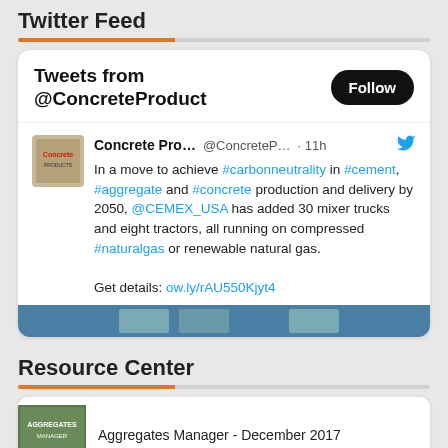Twitter Feed
[Figure (screenshot): Twitter widget showing tweets from @ConcreteProduct with a Follow button and a tweet about CEMEX_USA adding 30 mixer trucks running on compressed or renewable natural gas to achieve carbon neutrality in cement, aggregate and concrete production by 2050.]
Resource Center
[Figure (screenshot): Resource card showing Aggregates Manager - December 2017 magazine cover thumbnail]